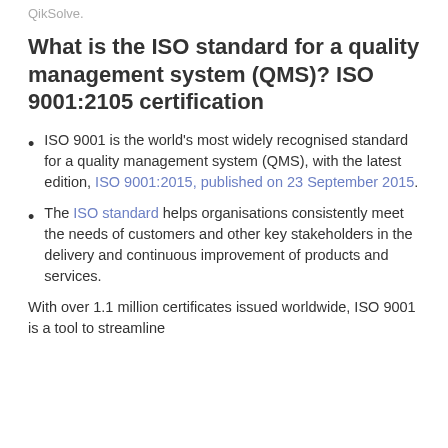QikSolve.
What is the ISO standard for a quality management system (QMS)? ISO 9001:2105 certification
ISO 9001 is the world's most widely recognised standard for a quality management system (QMS), with the latest edition, ISO 9001:2015, published on 23 September 2015.
The ISO standard helps organisations consistently meet the needs of customers and other key stakeholders in the delivery and continuous improvement of products and services.
With over 1.1 million certificates issued worldwide, ISO 9001 is a tool to streamline